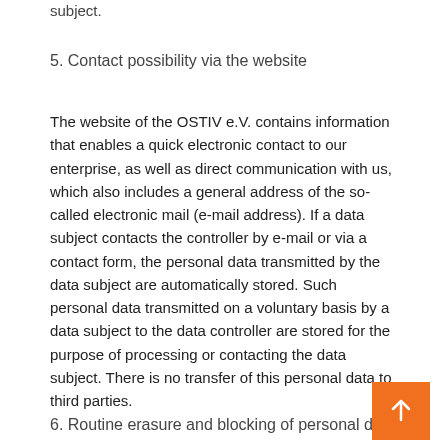subject.
5. Contact possibility via the website
The website of the OSTIV e.V. contains information that enables a quick electronic contact to our enterprise, as well as direct communication with us, which also includes a general address of the so-called electronic mail (e-mail address). If a data subject contacts the controller by e-mail or via a contact form, the personal data transmitted by the data subject are automatically stored. Such personal data transmitted on a voluntary basis by a data subject to the data controller are stored for the purpose of processing or contacting the data subject. There is no transfer of this personal data to third parties.
6. Routine erasure and blocking of personal data